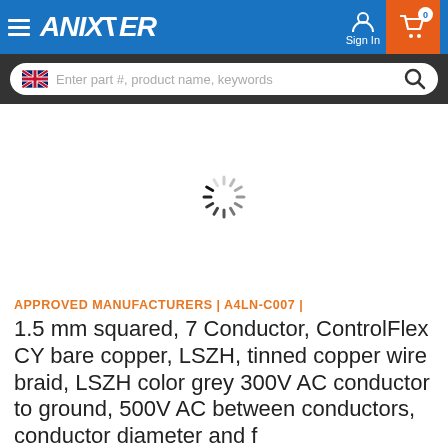ANIXTER - Sign In - Cart 0
[Figure (screenshot): Search bar with UK flag icon and placeholder text: Enter part #, product name, keywords]
[Figure (other): Loading spinner animation on white background]
APPROVED MANUFACTURERS | A4LN-C007 |
1.5 mm squared, 7 Conductor, ControlFlex CY bare copper, LSZH, tinned copper wire braid, LSZH color grey 300V AC conductor to ground, 500V AC between conductors, conductor diameter and f